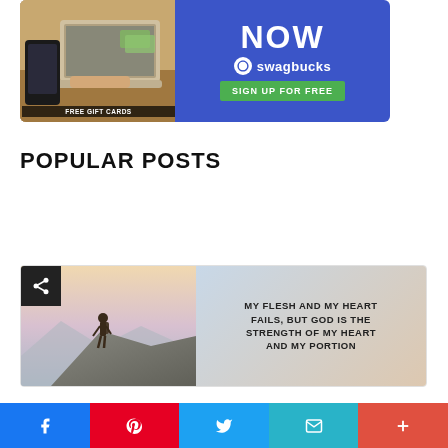[Figure (screenshot): Swagbucks advertisement banner with 'NOW', Swagbucks logo, 'SIGN UP FOR FREE' button, laptop with person typing, and 'FREE GIFT CARDS' text]
POPULAR POSTS
[Figure (photo): Post card showing a hiker on a mountain with a motivational Bible quote: 'MY FLESH AND MY HEART FAILS, BUT GOD IS THE STRENGTH OF MY HEART AND MY PORTION', with share icon overlay]
[Figure (infographic): Social sharing bar with Facebook, Pinterest, Twitter, Email, and More buttons at the bottom of the page]